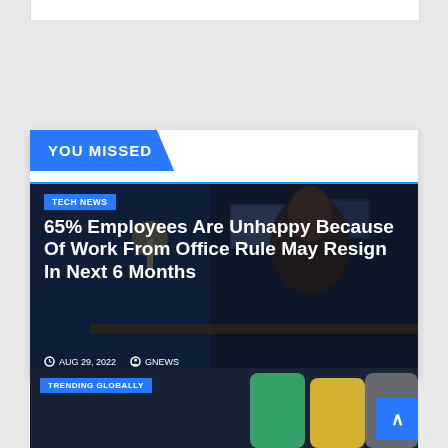YOU MISSED
[Figure (photo): A woman looking stressed at a desk in a dark office with monitors in the background]
65% Employees Are Unhappy Because Of Work From Office Rule May Resign In Next 6 Months
TECH NEWS
AUG 29, 2022   GNEWS
[Figure (photo): Bottom card showing trending globally tag with phones in background]
TRENDING GLOBALLY